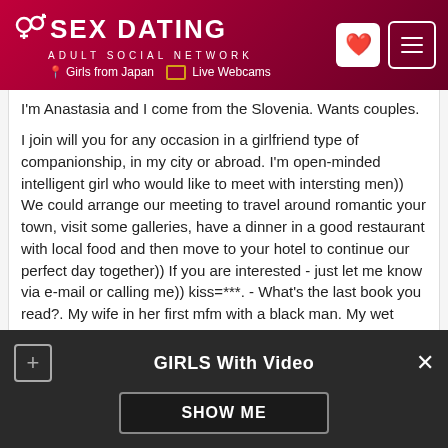SEX DATING ADULT SOCIAL NETWORK — Girls from Japan | Live Webcams
I'm Anastasia and I come from the Slovenia. Wants couples.
I join will you for any occasion in a girlfriend type of companionship, in my city or abroad. I'm open-minded intelligent girl who would like to meet with intersting men)) We could arrange our meeting to travel around romantic your town, visit some galleries, have a dinner in a good restaurant with local food and then move to your hotel to continue our perfect day together)) If you are interested - just let me know via e-mail or calling me)) kiss=***. - What's the last book you read?. My wife in her first mfm with a black man. My wet pussy wants for a hot cock!
GIRLS With Video — SHOW ME